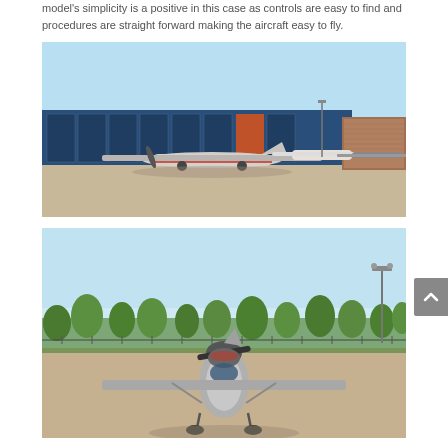model's simplicity is a positive in this case as controls are easy to find and procedures are straight forward making the aircraft easy to fly.
[Figure (photo): Flight simulator screenshot showing small propeller aircraft parked on an airport ramp in front of a large blue hangar building, with other aircraft and a brick building in the background, under a clear blue sky.]
[Figure (photo): Flight simulator screenshot showing a front view of a small propeller aircraft (appears to be a Cessna-style plane) on a taxiway or ramp, with rows of green trees in the background and a light pole on the right, under a pale blue sky.]